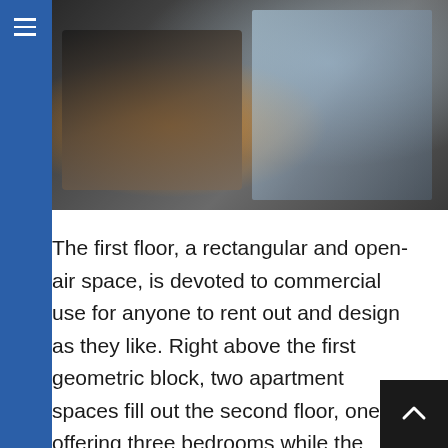[Figure (photo): Interior architectural photo showing dark metal mesh structure with warm orange lighting on the left, and glass staircase/facade on the right with cool blue-grey tones.]
The first floor, a rectangular and open-air space, is devoted to commercial use for anyone to rent out and design as they like. Right above the first geometric block, two apartment spaces fill out the second floor, one offering three bedrooms while the other comes as a one-bedroom living space. The top floor, occupied by the clients behind Mars’s conception, is the structure’s loft. There, its residents can enjoy total flexibility in a two-bedroom penthouse with an observatory-like sphere that juts out from one of Mars’s side facades, resembling a purposely misplaced, miniature Panther roof or Boulle’s Sphere, further enlightening the